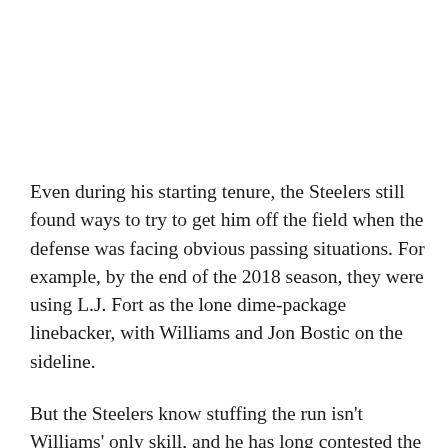Even during his starting tenure, the Steelers still found ways to try to get him off the field when the defense was facing obvious passing situations. For example, by the end of the 2018 season, they were using L.J. Fort as the lone dime-package linebacker, with Williams and Jon Bostic on the sideline.
But the Steelers know stuffing the run isn't Williams' only skill, and he has long contested the notion that he can't cover, something that he recently talked about himself. "I think it is just an outside thing that people talk about outside of our organization, but everybody inside the building, they know